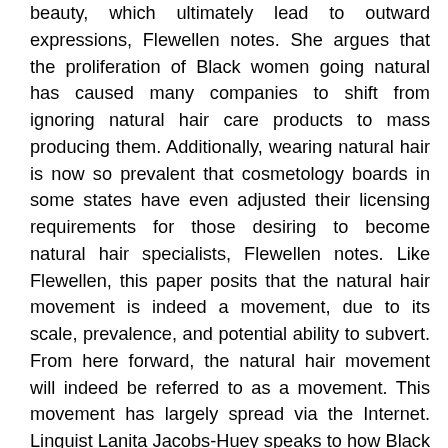beauty, which ultimately lead to outward expressions, Flewellen notes. She argues that the proliferation of Black women going natural has caused many companies to shift from ignoring natural hair care products to mass producing them. Additionally, wearing natural hair is now so prevalent that cosmetology boards in some states have even adjusted their licensing requirements for those desiring to become natural hair specialists, Flewellen notes. Like Flewellen, this paper posits that the natural hair movement is indeed a movement, due to its scale, prevalence, and potential ability to subvert. From here forward, the natural hair movement will indeed be referred to as a movement. This movement has largely spread via the Internet. Linguist Lanita Jacobs-Huey speaks to how Black women have used the Internet to exchange ideas about hair; thus, the natural hair community falls in line with a slightly longer trajectory. Many Black women have created and utilized blogs, YouTube channels, Instagram pages, and Twitter pages to trade pictures, suggestions, product reviews, and tutorials regarding natural hair. Accordingly, Byrd and Tharps s 2014 Hair Story: Untangling the Roots of Black Hair in America theorizes and conceptualizes this movement as #TeamNatural, a common hashtag used on